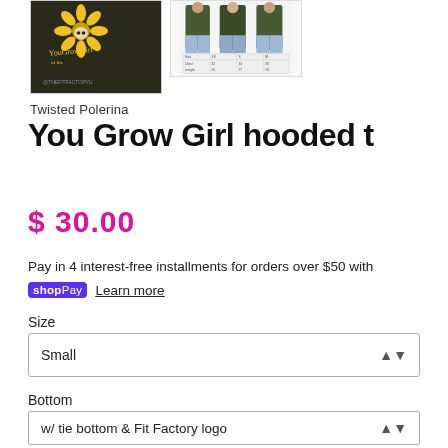[Figure (photo): Dark olive/black hoodie with sunflower and skull graphic and YouGrowGirl text, @TheFitFactoryU watermark]
[Figure (photo): Two models wearing dark green hooded t-shirts with jeans, plus a size chart table below]
Twisted Polerina
You Grow Girl hooded t
$ 30.00
Pay in 4 interest-free installments for orders over $50 with
shopPay  Learn more
Size
Small
Bottom
w/ tie bottom & Fit Factory logo